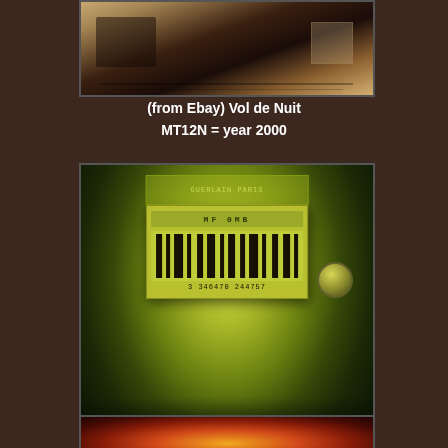[Figure (photo): Partial view of a perfume bottle bottom showing a barcode label, photographed from eBay, warm brown tones]
(from Ebay) Vol de Nuit
MT12N = year 2000
[Figure (photo): Close-up photograph of a perfume bottle bottom with barcode label reading MF0MB and barcode number 3 346470 244757, green-yellow illuminated tone]
Mahora EDP,
MF 0MB= September, 2000
[Figure (photo): Partial view of a perfume bottle bottom with warm orange-red tones, cropped at the bottom of the page]